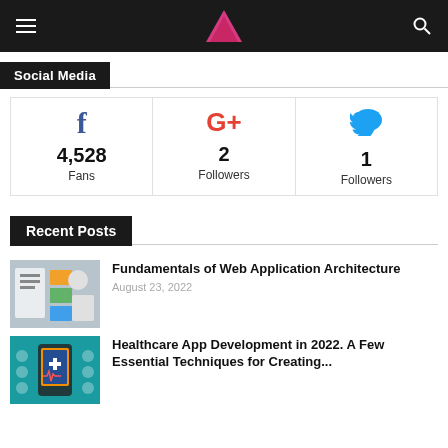[Figure (screenshot): Navigation bar with hamburger menu, mountain logo (pink), and search icon on dark background]
Social Media
| Facebook | Google+ | Twitter |
| --- | --- | --- |
| 4,528 Fans | 2 Followers | 1 Followers |
Recent Posts
[Figure (photo): Two people in front of a whiteboard with sticky notes and mobile app wireframes]
Fundamentals of Web Application Architecture
August 23, 2022
[Figure (photo): Healthcare app illustration on teal background with phone and medical icons]
Healthcare App Development in 2022. A Few Essential Techniques for Creating...